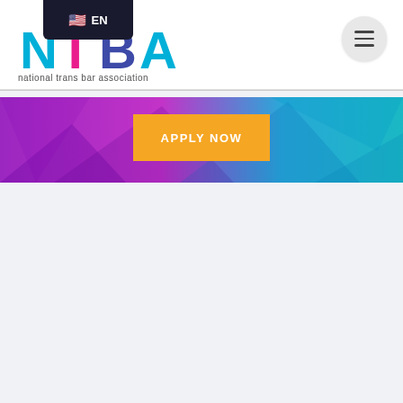[Figure (logo): National Trans Bar Association logo with colorful NTBA letters in blue, pink and teal, with text 'national trans bar association' below]
[Figure (screenshot): Language selector badge showing US flag emoji and 'EN' text on dark background]
[Figure (other): Hamburger menu button - three horizontal lines on a circular grey background]
[Figure (infographic): Hero banner with purple to teal gradient background featuring geometric polygon shapes]
APPLY NOW